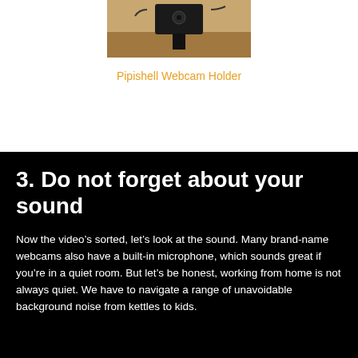[Figure (photo): Photo of a webcam holder/mount attached to what appears to be a wooden surface or monitor top, with cables visible]
Pipishell Webcam Holder
3. Do not forget about your sound
Now the video’s sorted, let’s look at the sound. Many brand-name webcams also have a built-in microphone, which sounds great if you’re in a quiet room. But let’s be honest, working from home is not always quiet. We have to navigate a range of unavoidable background noise from kettles to kids.